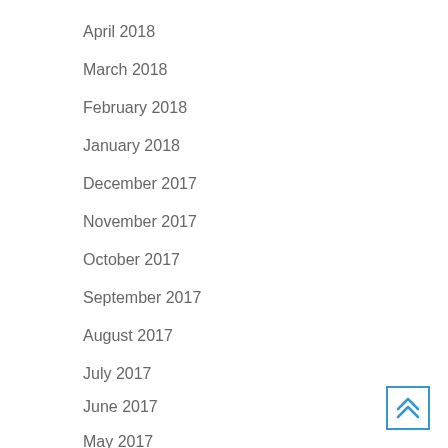April 2018
March 2018
February 2018
January 2018
December 2017
November 2017
October 2017
September 2017
August 2017
July 2017
June 2017
May 2017
[Figure (other): Back to top button with double upward chevron icon, blue border]